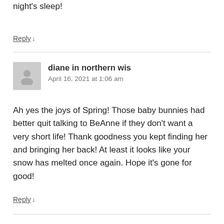such a good idea. Hope she (and you) manage a good night's sleep!
Reply ↓
diane in northern wis
April 16, 2021 at 1:06 am
Ah yes the joys of Spring! Those baby bunnies had better quit talking to BeAnne if they don't want a very short life! Thank goodness you kept finding her and bringing her back! At least it looks like your snow has melted once again. Hope it's gone for good!
Reply ↓